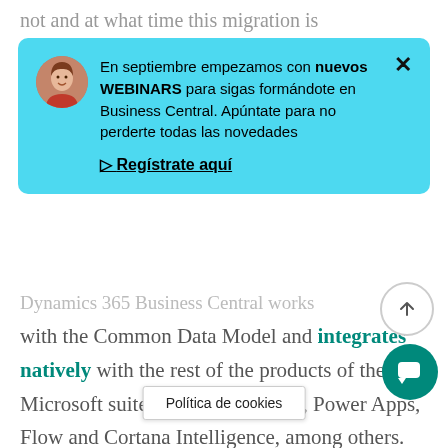not and at what time this migration is
[Figure (screenshot): Popup notification banner with avatar photo of a woman, Spanish text about new webinars for Business Central, a register link, and a close button. Background is cyan/light blue.]
Dynamics 365 Business Central works with the Common Data Model and integrates natively with the rest of the products of the Microsoft suite: Office, Power BI, Power Apps, Flow and Cortana Intelligence, among others. NetSuite does not offer native integration with these applications.
Política de cookies